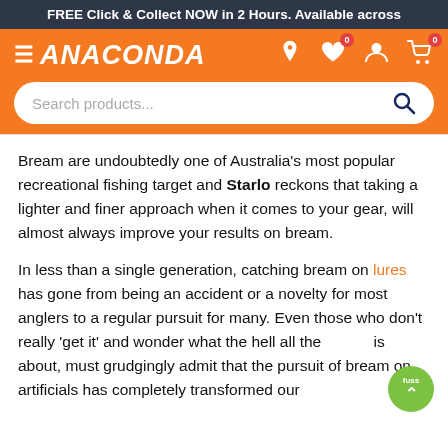FREE Click & Collect NOW in 2 Hours. Available across
[Figure (screenshot): Anaconda retail website header with logo, navigation icons (location, wishlist with badge 0, account, cart with badge 0), and a search bar]
Bream are undoubtedly one of Australia's most popular recreational fishing target and Starlo reckons that taking a lighter and finer approach when it comes to your gear, will almost always improve your results on bream.
In less than a single generation, catching bream on lures has gone from being an accident or a novelty for most anglers to a regular pursuit for many. Even those who don't really 'get it' and wonder what the hell all the fuss is about, must grudgingly admit that the pursuit of bream on artificials has completely transformed our